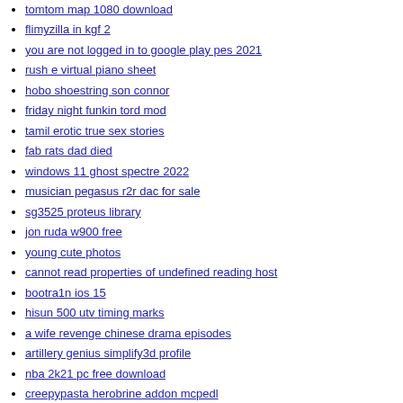tomtom map 1080 download
flimyzilla in kgf 2
you are not logged in to google play pes 2021
rush e virtual piano sheet
hobo shoestring son connor
friday night funkin tord mod
tamil erotic true sex stories
fab rats dad died
windows 11 ghost spectre 2022
musician pegasus r2r dac for sale
sg3525 proteus library
jon ruda w900 free
young cute photos
cannot read properties of undefined reading host
bootra1n ios 15
hisun 500 utv timing marks
a wife revenge chinese drama episodes
artillery genius simplify3d profile
nba 2k21 pc free download
creepypasta herobrine addon mcpedl
doom iptv activation code
feeling good original singer
bronner brothers show 2022
tampa comic con 2022 guests
the other end 2016 full movies